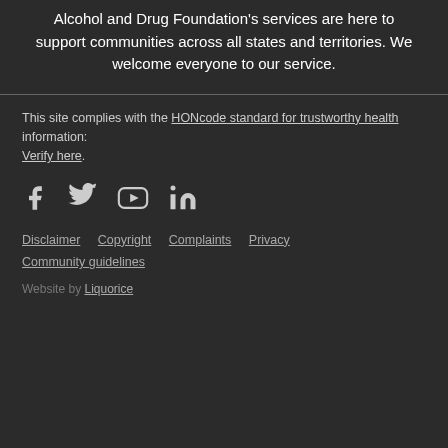Alcohol and Drug Foundation's services are here to support communities across all states and territories. We welcome everyone to our service.
This site complies with the HONcode standard for trustworthy health information: Verify here.
[Figure (other): Social media icons: Facebook, Twitter, YouTube, LinkedIn]
Disclaimer   Copyright   Complaints   Privacy   Community guidelines
Website by Liquorice